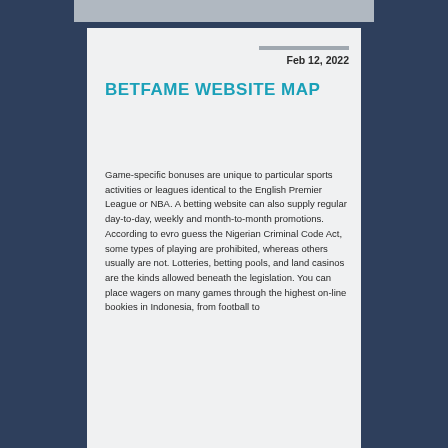Feb 12, 2022
BETFAME WEBSITE MAP
Game-specific bonuses are unique to particular sports activities or leagues identical to the English Premier League or NBA. A betting website can also supply regular day-to-day, weekly and month-to-month promotions. According to evro guess the Nigerian Criminal Code Act, some types of playing are prohibited, whereas others usually are not. Lotteries, betting pools, and land casinos are the kinds allowed beneath the legislation. You can place wagers on many games through the highest on-line bookies in Indonesia, from football to